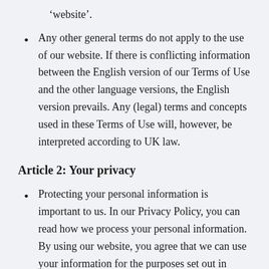'website'.
Any other general terms do not apply to the use of our website. If there is conflicting information between the English version of our Terms of Use and the other language versions, the English version prevails. Any (legal) terms and concepts used in these Terms of Use will, however, be interpreted according to UK law.
Article 2: Your privacy
Protecting your personal information is important to us. In our Privacy Policy, you can read how we process your personal information. By using our website, you agree that we can use your information for the purposes set out in